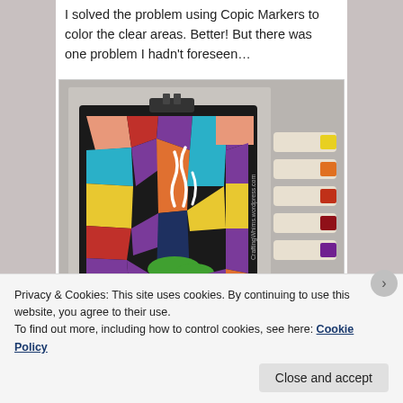I solved the problem using Copic Markers to color the clear areas. Better! But there was one problem I hadn't foreseen…
[Figure (photo): A stained glass style artwork on a dark panel showing a steaming mug/cauldron with colorful geometric sections in blue, purple, yellow, red, orange, teal, and green. Next to it are several Copic Markers in yellow, orange, red, and purple colors. A watermark reads 'CraftingWhims.wordpress.com'.]
Privacy & Cookies: This site uses cookies. By continuing to use this website, you agree to their use.
To find out more, including how to control cookies, see here: Cookie Policy